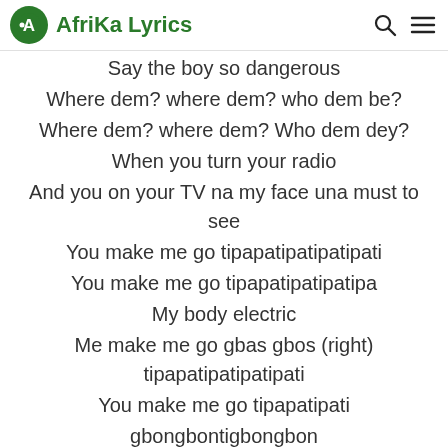Afrika Lyrics
Say the boy so dangerous
Where dem? where dem? who dem be?
Where dem? where dem? Who dem dey?
When you turn your radio
And you on your TV na my face una must to see
You make me go tipapatipatipatipati
You make me go tipapatipatipatipa
My body electric
Me make me go gbas gbos (right) tipapatipatipatipati
You make me go tipapatipati
gbongbontigbongbon